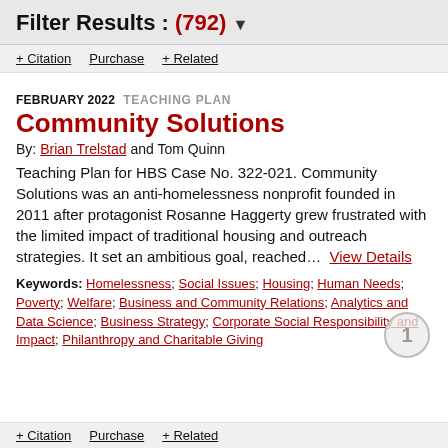Filter Results : (792)
+ Citation   Purchase   + Related
FEBRUARY 2022   TEACHING PLAN
Community Solutions
By: Brian Trelstad and Tom Quinn
Teaching Plan for HBS Case No. 322-021. Community Solutions was an anti-homelessness nonprofit founded in 2011 after protagonist Rosanne Haggerty grew frustrated with the limited impact of traditional housing and outreach strategies. It set an ambitious goal, reached...  View Details
Keywords: Homelessness; Social Issues; Housing; Human Needs; Poverty; Welfare; Business and Community Relations; Analytics and Data Science; Business Strategy; Corporate Social Responsibility and Impact; Philanthropy and Charitable Giving
+ Citation   Purchase   + Related